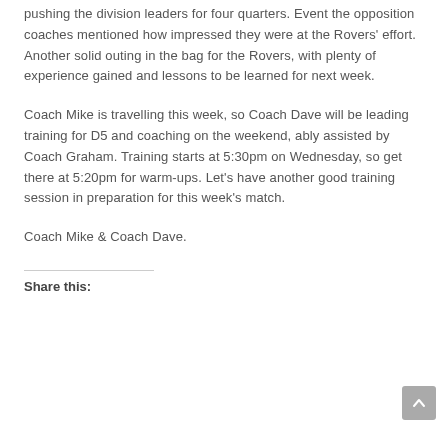pushing the division leaders for four quarters. Event the opposition coaches mentioned how impressed they were at the Rovers' effort. Another solid outing in the bag for the Rovers, with plenty of experience gained and lessons to be learned for next week.
Coach Mike is travelling this week, so Coach Dave will be leading training for D5 and coaching on the weekend, ably assisted by Coach Graham. Training starts at 5:30pm on Wednesday, so get there at 5:20pm for warm-ups. Let's have another good training session in preparation for this week's match.
Coach Mike & Coach Dave.
Share this: